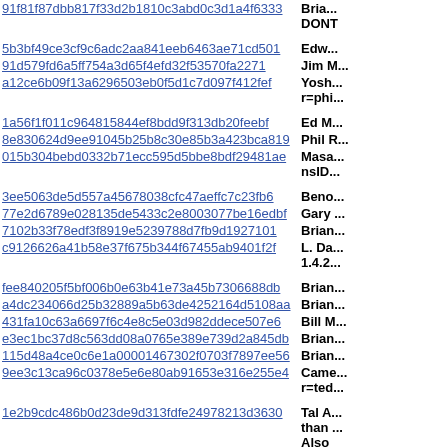| Hash | Name |
| --- | --- |
| 91f81f87dbb817f33d2b1810c3abd0c3d1a4f6333 | Brian... DONT |
| 5b3bf49ce3cf9c6adc2aa841eeb6463ae71cd501 | Edw... |
| 91d579fd6a5ff754a3d65f4efd32f53570fa2271 | Jim M... |
| a12ce6b09f13a6296503eb0f5d1c7d097f412fef | Yosh... r=phi... |
| 1a56f1f011c964815844ef8bdd9f313db20feebf | Ed M... |
| 8e830624d9ee91045b25b8c30e85b3a423bca819 | Phil R... |
| 015b304bebd0332b71ecc595d5bbe8bdf29481ae | Masa... nsID... |
| 3ee5063de5d557a45678038cfc47aeffc7c23fb6 | Beno... |
| 77e2d6789e028135de5433c2e8003077be16edbf | Gary ... |
| 7102b33f78edf3f8919e5239788d7fb9d1927101 | Brian... |
| c9126626a41b58e37f675b344f67455ab9401f2f | L. Da... 1.4.2... |
| fee840205f5bf006b0e63b41e73a45b7306688db | Brian... |
| a4dc234066d25b32889a5b63de4252164d5108aa | Brian... |
| 431fa10c63a6697f6c4e8c5e03d982ddece507e6 | Bill M... |
| e3ec1bc37d8c563dd08a0765e389e739d2a845db | Brian... |
| 115d48a4ce0c6e1a00001467302f0703f7897ee56 | Brian... |
| 9ee3c13ca96c0378e5e6e80ab91653e316e255e4 | Came... r=ted... |
| 1e2b9cdc486b0d23de9d313fdfe24978213d3630 | Tal A... than ... Also 2482... |
| b433848205b817a03806be9de9210d3ce97ee701 | Ralp... |